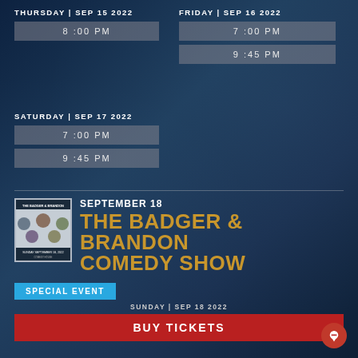THURSDAY | SEP 15 2022FRIDAY | SEP 16 2022
8:00 PM
7:00 PM
9:45 PM
SATURDAY | SEP 17 2022
7:00 PM
9:45 PM
[Figure (photo): Event poster for The Badger & Brandon Comedy Show, Sunday September 18 2022, showing headshot photos of comedians]
SEPTEMBER 18
THE BADGER & BRANDON COMEDY SHOW
SPECIAL EVENT
SUNDAY | SEP 18 2022
BUY TICKETS